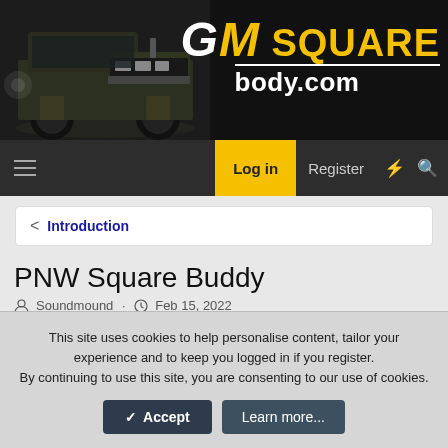[Figure (screenshot): GMSquarebody.com website header banner showing a dark pickup truck on the left and the GM SQUARE body.com logo on the right in white and yellow text on a dark background]
Log in  Register
< Introduction
PNW Square Buddy
Soundmound · Feb 15, 2022
This site uses cookies to help personalise content, tailor your experience and to keep you logged in if you register.
By continuing to use this site, you are consenting to our use of cookies.
✓ Accept   Learn more...